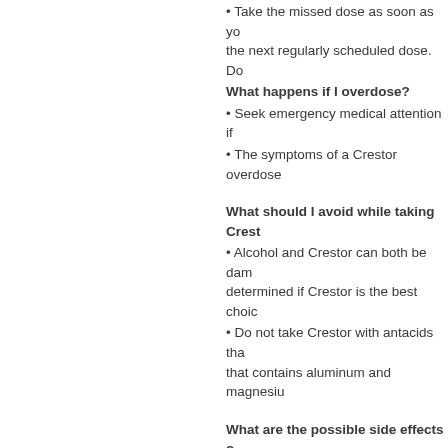• Take the missed dose as soon as yo the next regularly scheduled dose. Do
What happens if I overdose?
• Seek emergency medical attention if
• The symptoms of a Crestor overdose
What should I avoid while taking Crest
• Alcohol and Crestor can both be dam determined if Crestor is the best choic
• Do not take Crestor with antacids tha that contains aluminum and magnesiu
What are the possible side effects o
• Rare cases of muscle problems and Contact your doctor immediately if you fever or flulike symptoms or yellowing stools. These may be early symptoms
• If you experience a rare but serious a hives) stop taking Crestor and seek em
• Other, less serious side effects may b
o headache;
o diarrhea or constipation; or
o nausea or upset stomach.
• Side effects other than those listed h especially bothersome.